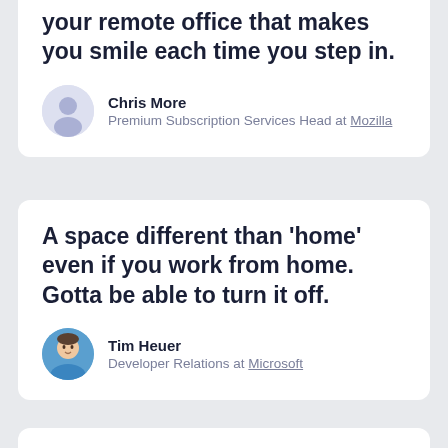your remote office that makes you smile each time you step in.
Chris More
Premium Subscription Services Head at Mozilla
A space different than 'home' even if you work from home. Gotta be able to turn it off.
Tim Heuer
Developer Relations at Microsoft